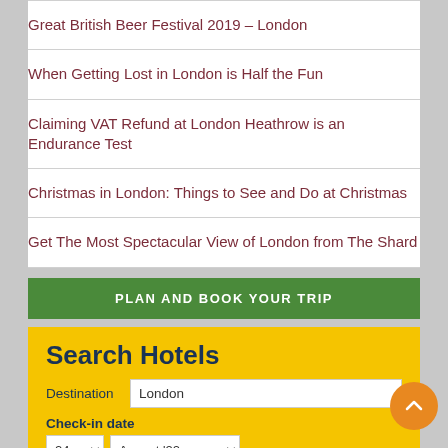Great British Beer Festival 2019 – London
When Getting Lost in London is Half the Fun
Claiming VAT Refund at London Heathrow is an Endurance Test
Christmas in London: Things to See and Do at Christmas
Get The Most Spectacular View of London from The Shard
PLAN AND BOOK YOUR TRIP
Search Hotels
Destination: London
Check-in date: 24, August '22
Check-out date: 25, August '22